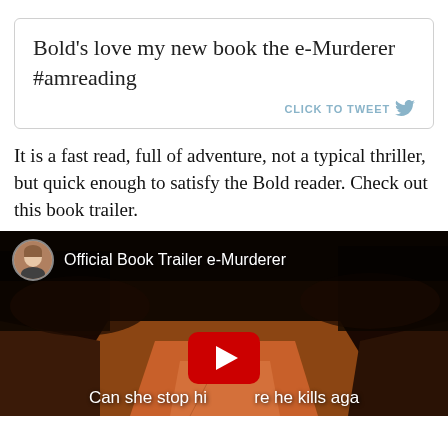Bold's love my new book the e-Murderer #amreading
CLICK TO TWEET
It is a fast read, full of adventure, not a typical thriller, but quick enough to satisfy the Bold reader. Check out this book trailer.
[Figure (screenshot): YouTube video thumbnail showing a dark dirt road at night with text 'Official Book Trailer e-Murderer' and a YouTube play button overlay. Caption reads 'Can she stop hi[m] re he kills aga[in]']